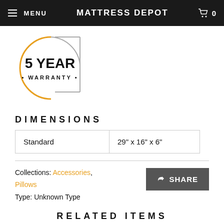MENU  MATTRESS DEPOT  0
[Figure (illustration): 5 YEAR WARRANTY badge with orange and gray circular arc design]
DIMENSIONS
| Standard | 29" x 16" x 6" |
Collections: Accessories, Pillows
Type: Unknown Type
RELATED ITEMS